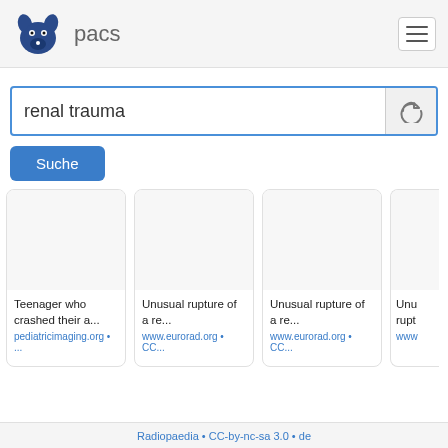pacs
renal trauma
Suche
[Figure (screenshot): Search result card: Teenager who crashed their a... — pediatricimaging.org • ...]
[Figure (screenshot): Search result card: Unusual rupture of a re... — www.eurorad.org • CC...]
[Figure (screenshot): Search result card: Unusual rupture of a re... — www.eurorad.org • CC...]
[Figure (screenshot): Partial search result card: Unu... rupt... — www...]
Radiopaedia • CC-by-nc-sa 3.0 • de